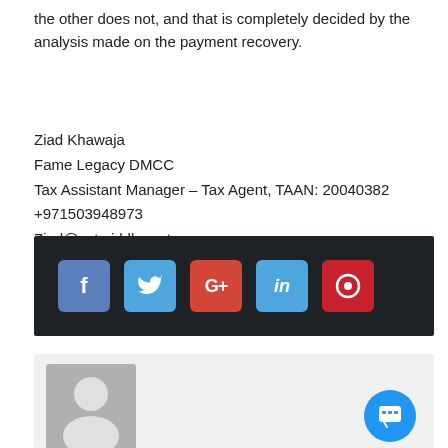the other does not, and that is completely decided by the analysis made on the payment recovery.
Ziad Khawaja
Fame Legacy DMCC
Tax Assistant Manager – Tax Agent, TAAN: 20040382
+971503948973
Ziad@vatmiddleeast.com
[Figure (infographic): Dark social media sharing bar with icons for Facebook (f), Twitter (bird), Google+ (G+), LinkedIn (in), and Pinterest (circle P)]
[Figure (photo): Light gray profile card area with a generic avatar silhouette icon and a blue chat button in the bottom right corner]